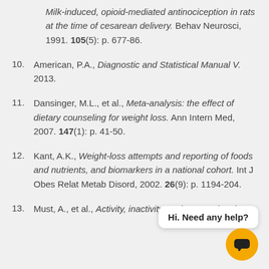Milk-induced, opioid-mediated antinociception in rats at the time of cesarean delivery. Behav Neurosci, 1991. 105(5): p. 677-86.
10. American, P.A., Diagnostic and Statistical Manual V. 2013.
11. Dansinger, M.L., et al., Meta-analysis: the effect of dietary counseling for weight loss. Ann Intern Med, 2007. 147(1): p. 41-50.
12. Kant, A.K., Weight-loss attempts and reporting of foods and nutrients, and biomarkers in a national cohort. Int J Obes Relat Metab Disord, 2002. 26(9): p. 1194-204.
13. Must, A., et al., Activity, inactivity, and screen time in